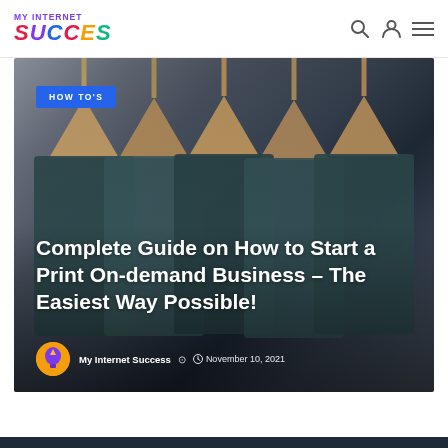MY INTERNET SUCCES
[Figure (photo): Dark teal/grey shirts hanging on wooden clothes hangers, hero image for a blog post about print-on-demand business]
HOW TO'S
Complete Guide on How to Start a Print On-demand Business – The Easiest Way Possible!
My Internet Success  November 10, 2021